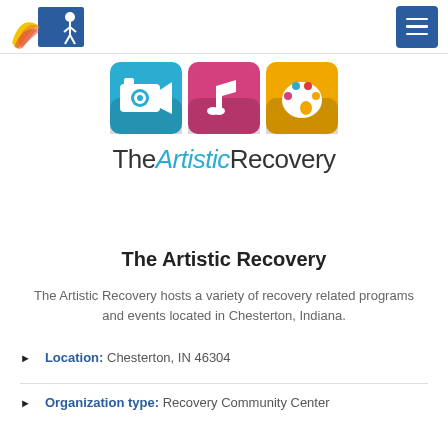Indiana Recovery Network logo | Menu button
[Figure (logo): The Artistic Recovery brand logo with three colored icons (video camera on cyan, music note on pink/red, paint palette on yellow) above the text 'TheArtisticRecovery' in mixed dark grey and cyan italic lettering]
The Artistic Recovery
The Artistic Recovery hosts a variety of recovery related programs and events located in Chesterton, Indiana.
Location: Chesterton, IN 46304
Organization type: Recovery Community Center